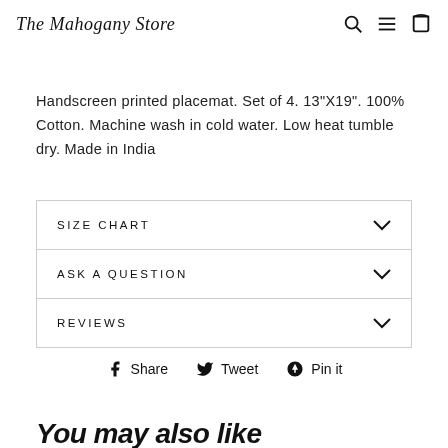The Mahogany Store
Handscreen printed placemat. Set of 4. 13"X19". 100% Cotton. Machine wash in cold water. Low heat tumble dry. Made in India
SIZE CHART
ASK A QUESTION
REVIEWS
Share  Tweet  Pin it
You may also like